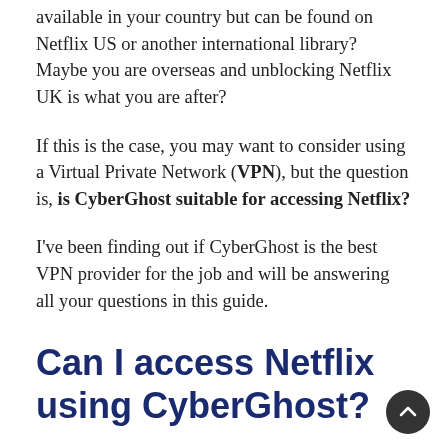Perhaps you are looking for specific content that is not available in your country but can be found on Netflix US or another international library? Maybe you are overseas and unblocking Netflix UK is what you are after?
If this is the case, you may want to consider using a Virtual Private Network (VPN), but the question is, is CyberGhost suitable for accessing Netflix?
I've been finding out if CyberGhost is the best VPN provider for the job and will be answering all your questions in this guide.
Can I access Netflix using CyberGhost?
Fortunately, if you want to unblock Netflix, CyberGhost is the ideal VPN for the job.